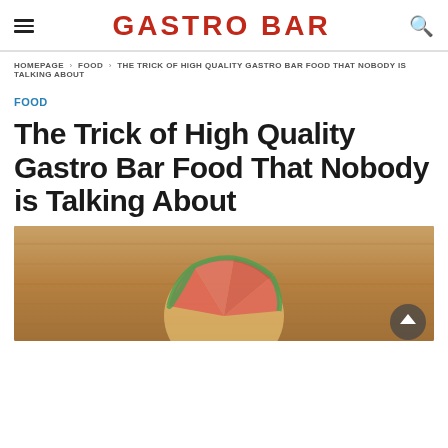GASTRO BAR
HOMEPAGE › FOOD › THE TRICK OF HIGH QUALITY GASTRO BAR FOOD THAT NOBODY IS TALKING ABOUT
FOOD
The Trick of High Quality Gastro Bar Food That Nobody is Talking About
[Figure (photo): A decoratively cut fruit or vegetable dish on a wooden surface, viewed from above, with a scroll-to-top button overlay.]